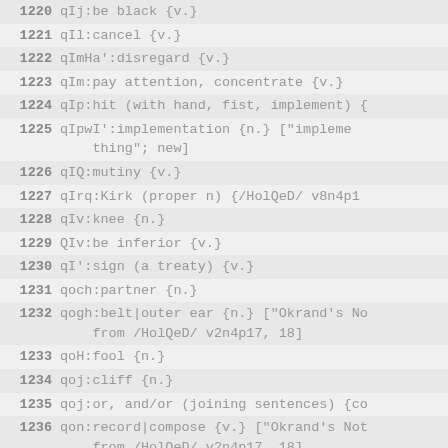1220 qIj:be black {v.}
1221 qIl:cancel {v.}
1222 qImHa':disregard {v.}
1223 qIm:pay attention, concentrate {v.}
1224 qIp:hit (with hand, fist, implement) {v.}
1225 qIpwI':implementation {n.} ["impleme thing"; new]
1226 qIQ:mutiny {v.}
1227 qIrq:Kirk (proper n) {/HolQeD/ v8n4p12}
1228 qIv:knee {n.}
1229 QIv:be inferior {v.}
1230 qI':sign (a treaty) {v.}
1231 qoch:partner {n.}
1232 qogh:belt|outer ear {n.} ["Okrand's No from /HolQeD/ v2n4p17, 18]
1233 qoH:fool {n.}
1234 qoj:cliff {n.}
1235 qoj:or, and/or (joining sentences) {co
1236 qon:record|compose {v.} ["Okrand's Not from /HolQeD/ v2n4p17, 18]
1237 qop:arrest {v.}
1238 qoq:robot {n.}